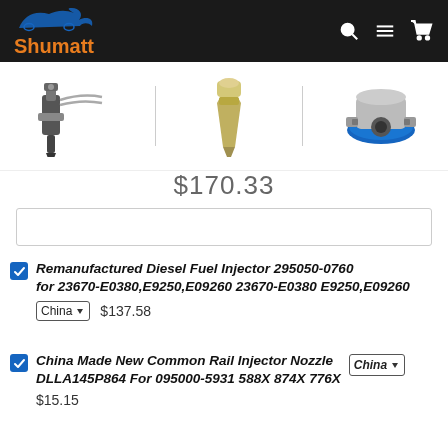[Figure (screenshot): Shumatt website navigation bar with logo (blue flame/car silhouette and orange Shumatt text) on dark background, with search, menu, and cart icons]
[Figure (photo): Three diesel fuel injector product images shown side by side: a full injector assembly, an injector nozzle tip, and a metering unit/solenoid component]
$170.33
Remanufactured Diesel Fuel Injector 295050-0760 for 23670-E0380,E9250,E09260 23670-E0380 E9250,E09260 | China v | $137.58
China Made New Common Rail Injector Nozzle DLLA145P864 For 095000-5931 588X 874X 776X | China v | $15.15